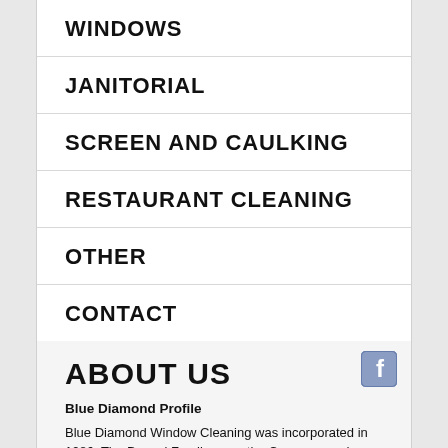WINDOWS
JANITORIAL
SCREEN AND CAULKING
RESTAURANT CLEANING
OTHER
CONTACT
ABOUT US
Blue Diamond Profile
Blue Diamond Window Cleaning was incorporated in 1986.  The Devoni Family owns the Company and takes personal pride in a job well done.  We are proud members of the Chamber of Commerce and Safe Communities Partnership.  We are an employer in good standing with